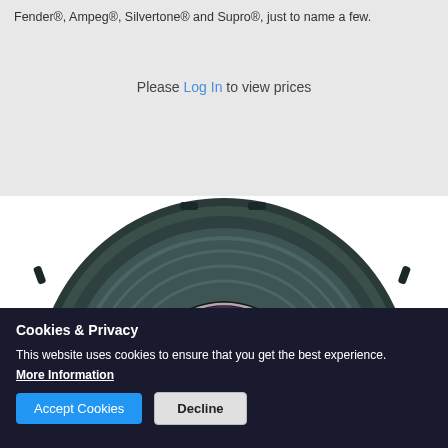Fender®, Ampeg®, Silvertone® and Supro®, just to name a few.
Please Log In to view prices
[Figure (photo): Close-up photo of a Jensen MOD guitar speaker, dark teal/grey colored, showing the speaker cone, magnet, and purple Jensen MOD label in the center.]
Cookies & Privacy
This website uses cookies to ensure that you get the best experience.
More Information
Accept Cookies
Decline